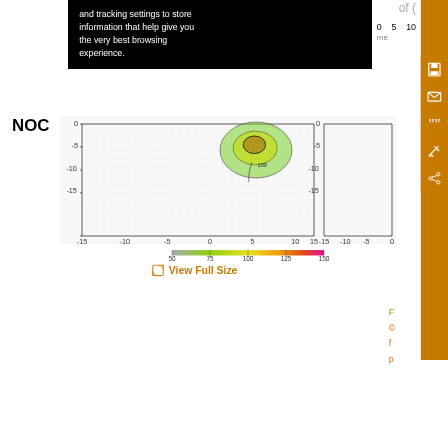and tracking settings to store information that help give you the very best browsing experience.
[Figure (continuous-plot): NOC contour plot showing a density/intensity map with contour lines on a grid ranging from -15 to 15 on both axes. A green/yellow blob with a dark center contour and label '100' is visible near coordinates (5, 0). A color scale bar below ranges from 50 (grey) to 150 (pink/magenta) through green, yellow, orange.]
View Full Size